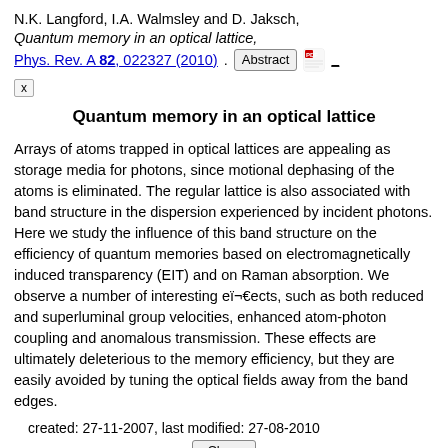N.K. Langford, I.A. Walmsley and D. Jaksch, Quantum memory in an optical lattice, Phys. Rev. A 82, 022327 (2010). [Abstract] [PDF] [_] [x]
Quantum memory in an optical lattice
Arrays of atoms trapped in optical lattices are appealing as storage media for photons, since motional dephasing of the atoms is eliminated. The regular lattice is also associated with band structure in the dispersion experienced by incident photons. Here we study the in uence of this band structure on the efficiency of quantum memories based on electromagnetically induced transparency (EIT) and on Raman absorption. We observe a number of interesting eÿects, such as both reduced and superluminal group velocities, enhanced atom-photon coupling and anomalous transmission. These effects are ultimately deleterious to the memory efficiency, but they are easily avoided by tuning the optical fields away from the band edges.
created: 27-11-2007, last modified: 27-08-2010
Close
S. Broadfoot, U. Dorner and D. Jaksch,